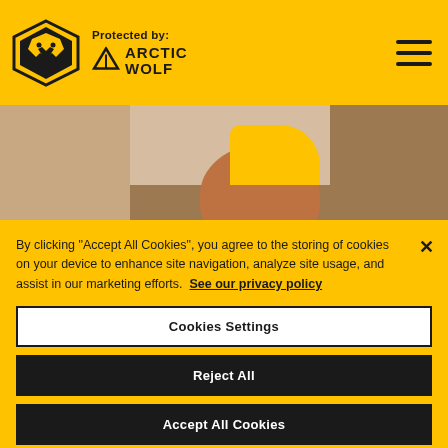Protected by: ARCTIC WOLF
[Figure (photo): Close-up image of hands, one wearing a yellow/gold sleeve, against a tiled or brick background]
Behind the scenes | Matheus Nunes meets his new teammates before signing his contract!
By clicking "Accept All Cookies", you agree to the storing of cookies on your device to enhance site navigation, analyze site usage, and assist in our marketing efforts. See our privacy policy
Cookies Settings
Reject All
Accept All Cookies